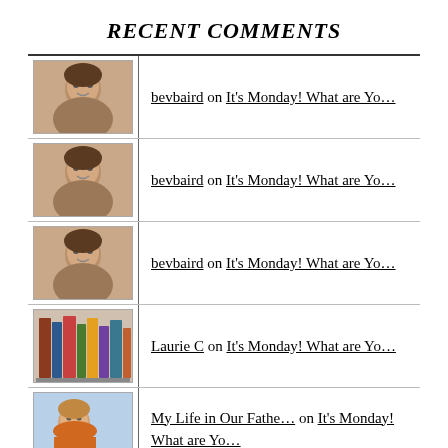RECENT COMMENTS
bevbaird on It's Monday! What are Yo…
bevbaird on It's Monday! What are Yo…
bevbaird on It's Monday! What are Yo…
Laurie C on It's Monday! What are Yo…
My Life in Our Fathe… on It's Monday! What are Yo…